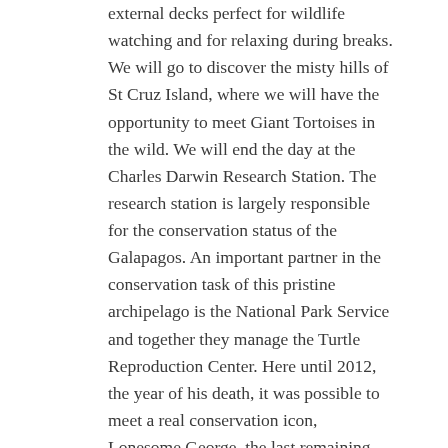external decks perfect for wildlife watching and for relaxing during breaks.
We will go to discover the misty hills of St Cruz Island, where we will have the opportunity to meet Giant Tortoises in the wild. We will end the day at the Charles Darwin Research Station. The research station is largely responsible for the conservation status of the Galapagos. An important partner in the conservation task of this pristine archipelago is the National Park Service and together they manage the Turtle Reproduction Center. Here until 2012, the year of his death, it was possible to meet a real conservation icon, Lonesome George, the last remaining animal from the Pinta Island species. Overnight on board.
December  29
The two small Plazas islands have risen from the sea and are separated by a channel. It is possible to disembark only at South Plaza where we can